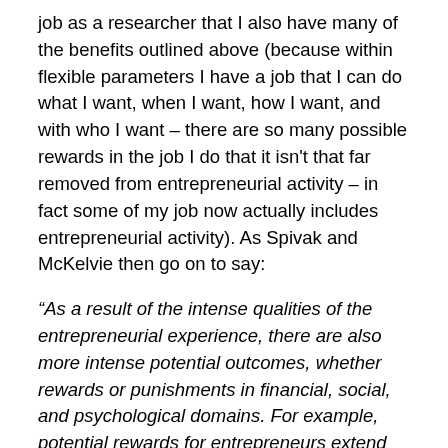job as a researcher that I also have many of the benefits outlined above (because within flexible parameters I have a job that I can do what I want, when I want, how I want, and with who I want – there are so many possible rewards in the job I do that it isn't that far removed from entrepreneurial activity – in fact some of my job now actually includes entrepreneurial activity). As Spivak and McKelvie then go on to say:
“As a result of the intense qualities of the entrepreneurial experience, there are also more intense potential outcomes, whether rewards or punishments in financial, social, and psychological domains. For example, potential rewards for entrepreneurs extend far beyond supervisor recognition and pay bonuses, into the realm of public awareness of accomplishments (or failures), media heralding, and life-changing financial gains or losses.